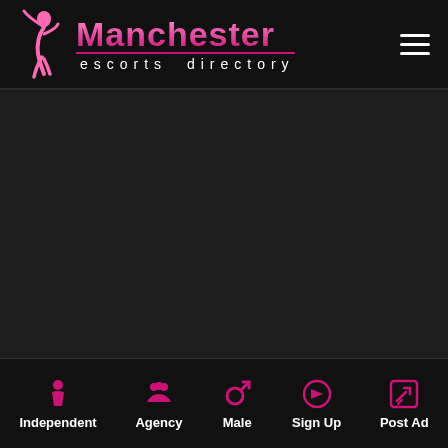Manchester escorts directory
[Figure (screenshot): Main content dark area]
Independent | Agency | Male | Sign Up | Post Ad